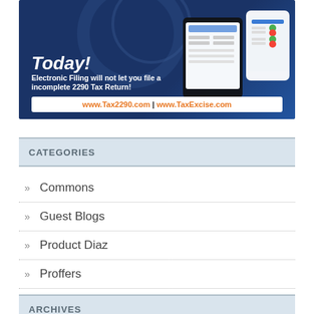[Figure (photo): Dark blue banner advertisement for Tax2290.com and TaxExcise.com showing text 'Today!', 'Electronic Filing will not let you file a incomplete 2290 Tax Return!', and URLs www.Tax2290.com | www.TaxExcise.com, with device mockups on the right side.]
CATEGORIES
Commons
Guest Blogs
Product Diaz
Proffers
TipOffs
Uncategorized
ARCHIVES